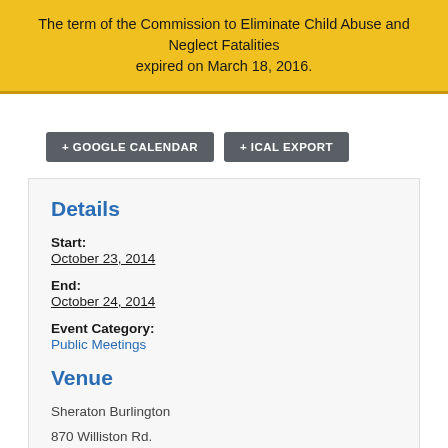The term of the Commission to Eliminate Child Abuse and Neglect Fatalities expired on March 18, 2016.
+ GOOGLE CALENDAR
+ ICAL EXPORT
Details
Start:
October 23, 2014
End:
October 24, 2014
Event Category:
Public Meetings
Venue
Sheraton Burlington
870 Williston Rd.